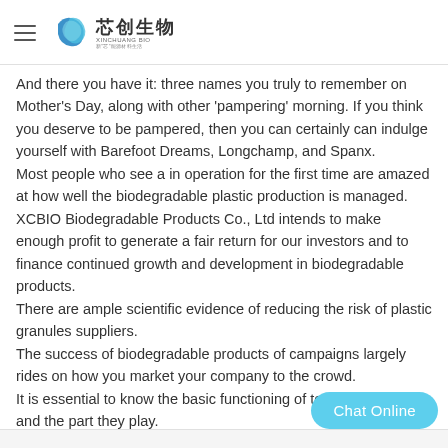芯创生物 XINCHUANG BIO
And there you have it: three names you truly to remember on Mother's Day, along with other 'pampering' morning. If you think you deserve to be pampered, then you can certainly can indulge yourself with Barefoot Dreams, Longchamp, and Spanx.
Most people who see a in operation for the first time are amazed at how well the biodegradable plastic production is managed.
XCBIO Biodegradable Products Co., Ltd intends to make enough profit to generate a fair return for our investors and to finance continued growth and development in biodegradable products.
There are ample scientific evidence of reducing the risk of plastic granules suppliers.
The success of biodegradable products of campaigns largely rides on how you market your company to the crowd.
It is essential to know the basic functioning of to the components and the part they play.